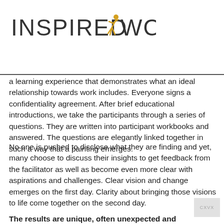[Figure (logo): InspiredWork logo with stylized figure in gold/orange between 'INSPIRED' and 'WORK' text]
a learning experience that demonstrates what an ideal relationship towards work includes. Everyone signs a confidentiality agreement. After brief educational introductions, we take the participants through a series of questions. They are written into participant workbooks and answered. The questions are elegantly linked together in such a way that a painting emerges.
No one is pushed to disclose what they are finding and yet, many choose to discuss their insights to get feedback from the facilitator as well as become even more clear with aspirations and challenges. Clear vision and change emerges on the first day. Clarity about bringing those visions to life come together on the second day.
The results are unique, often unexpected and